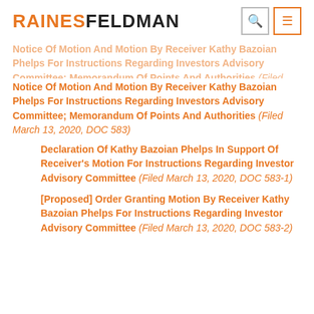RAINESFELDMAN
Notice Of Motion And Motion By Receiver Kathy Bazoian Phelps For Instructions Regarding Investors Advisory Committee; Memorandum Of Points And Authorities (Filed March 13, 2020, DOC 583)
Declaration Of Kathy Bazoian Phelps In Support Of Receiver's Motion For Instructions Regarding Investor Advisory Committee (Filed March 13, 2020, DOC 583-1)
[Proposed] Order Granting Motion By Receiver Kathy Bazoian Phelps For Instructions Regarding Investor Advisory Committee (Filed March 13, 2020, DOC 583-2)